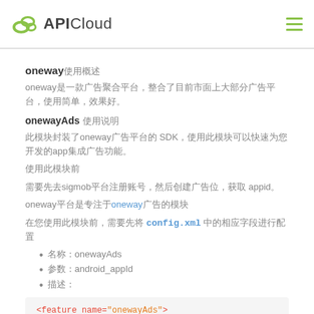APICloud
oneway使用概述
oneway是一款广告聚合平台，整合了目前市面上大部分广告平台，使用简单，效果好。
onewayAds 使用说明
此模块封装了oneway广告平台的 SDK，使用此模块可以快速为您开发的app集成广告功能。
使用此模块前
需要先去sigmob平台注册账号，然后创建广告位，获取 appid。
oneway平台是专注于oneway广告的模块
在您使用此模块前，需要先将 config.xml 中的相应字段进行配置
名称：onewayAds
参数：android_appId
描述：
<feature name="onewayAds">